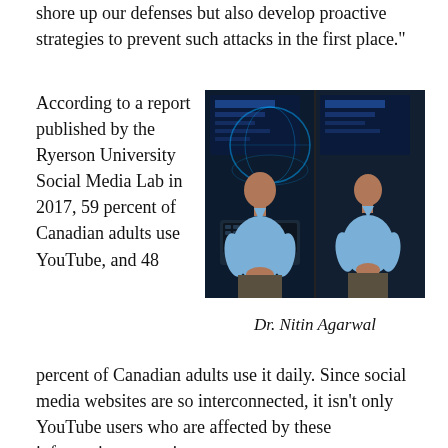shore up our defenses but also develop proactive strategies to prevent such attacks in the first place."
According to a report published by the Ryerson University Social Media Lab in 2017, 59 percent of Canadian adults use YouTube, and 48 percent of Canadian adults use it daily. Since social media websites are so interconnected, it isn't only YouTube users who are affected by these information campaigns.
[Figure (photo): Photo of Dr. Nitin Agarwal, a man in a blue button-down shirt seated in front of cybersecurity-themed digital screens showing keyboard and globe imagery. The image appears duplicated side by side.]
Dr. Nitin Agarwal